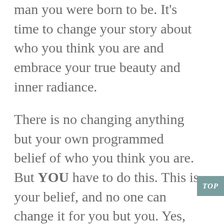man you were born to be. It's time to change your story about who you think you are and embrace your true beauty and inner radiance.
There is no changing anything but your own programmed belief of who you think you are. But YOU have to do this. This is your belief, and no one can change it for you but you. Yes, it's nice to have someone remind you of this. The reminder is only because they see the beauty and radiance reflecting from you! The true